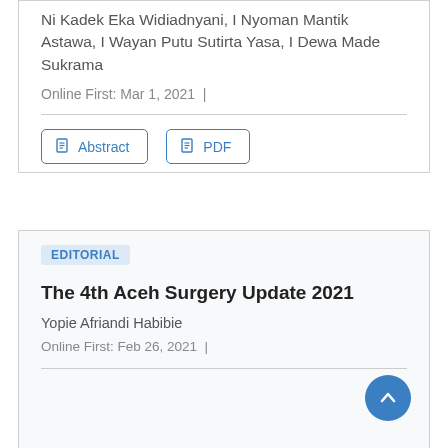Ni Kadek Eka Widiadnyani, I Nyoman Mantik Astawa, I Wayan Putu Sutirta Yasa, I Dewa Made Sukrama
Online First: Mar 1, 2021 |
Abstract
PDF
EDITORIAL
The 4th Aceh Surgery Update 2021
Yopie Afriandi Habibie
Online First: Feb 26, 2021 |